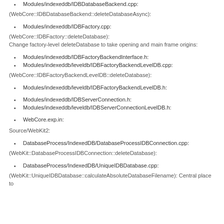Modules/indexeddb/IDBDatabaseBackend.cpp:
(WebCore::IDBDatabaseBackend::deleteDatabaseAsync):
Modules/indexeddb/IDBFactory.cpp:
(WebCore::IDBFactory::deleteDatabase):
Change factory-level deleteDatabase to take opening and main frame origins:
Modules/indexeddb/IDBFactoryBackendInterface.h:
Modules/indexeddb/leveldb/IDBFactoryBackendLevelDB.cpp:
(WebCore::IDBFactoryBackendLevelDB::deleteDatabase):
Modules/indexeddb/leveldb/IDBFactoryBackendLevelDB.h:
Modules/indexeddb/IDBServerConnection.h:
Modules/indexeddb/leveldb/IDBServerConnectionLevelDB.h:
WebCore.exp.in:
Source/WebKit2:
DatabaseProcess/IndexedDB/DatabaseProcessIDBConnection.cpp:
(WebKit::DatabaseProcessIDBConnection::deleteDatabase):
DatabaseProcess/IndexedDB/UniqueIDBDatabase.cpp:
(WebKit::UniqueIDBDatabase::calculateAbsoluteDatabaseFilename): Central place to